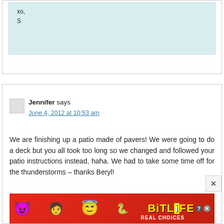xo,
S
Jennifer says
June 4, 2012 at 10:53 am
We are finishing up a patio made of pavers! We were going to do a deck but you all took too long so we changed and followed your patio instructions instead, haha. We had to take some time off for the thunderstorms – thanks Beryl!
[Figure (infographic): BitLife advertisement banner with emojis (devil, woman, angel face, sperm) on red background with yellow BitLife logo and 'REAL CHOICES' subtitle]